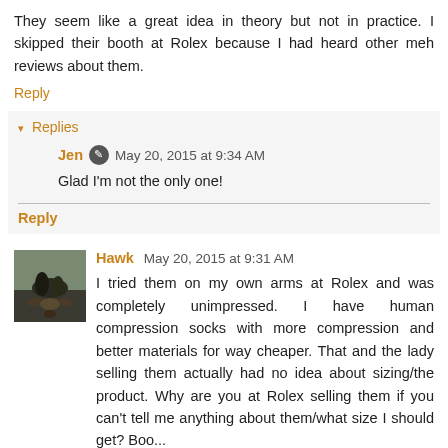They seem like a great idea in theory but not in practice. I skipped their booth at Rolex because I had heard other meh reviews about them.
Reply
Replies
Jen  May 20, 2015 at 9:34 AM
Glad I'm not the only one!
Reply
Hawk  May 20, 2015 at 9:31 AM
I tried them on my own arms at Rolex and was completely unimpressed. I have human compression socks with more compression and better materials for way cheaper. That and the lady selling them actually had no idea about sizing/the product. Why are you at Rolex selling them if you can't tell me anything about them/what size I should get? Boo...